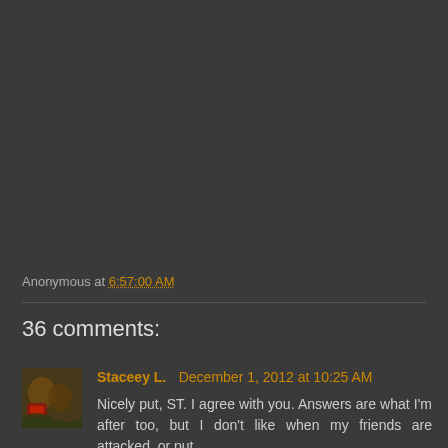Anonymous at 6:57:00 AM
36 comments:
Staceey L.   December 1, 2012 at 10:25 AM
Nicely put, ST. I agree with you. Answers are what I'm after too, but I don't like when my friends are attacked, or put